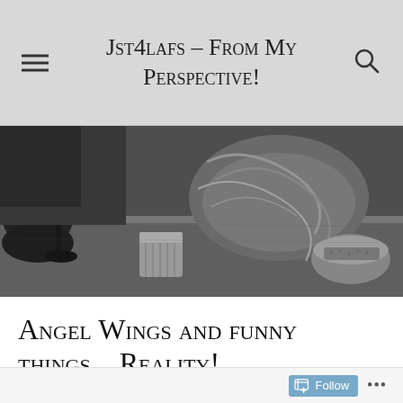Jst4lafs – From My Perspective!
[Figure (photo): Black and white photo of a table scene with a teapot pouring liquid, ceramic cups, yarn/wool, and small bowls with seeds or grains on a wooden surface.]
Angel Wings and funny things....Reality!
Follow